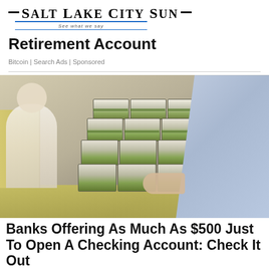Salt Lake City Sun — See what we say
Retirement Account
Bitcoin | Search Ads | Sponsored
[Figure (photo): Photo of a man in a white shirt standing behind a counter with large stacks of bundled $100 bills in a cardboard box, while another person in a blue shirt reaches toward the money from the right side.]
Banks Offering As Much As $500 Just To Open A Checking Account: Check It Out